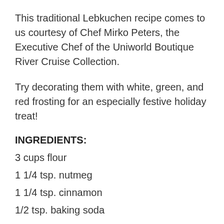This traditional Lebkuchen recipe comes to us courtesy of Chef Mirko Peters, the Executive Chef of the Uniworld Boutique River Cruise Collection.
Try decorating them with white, green, and red frosting for an especially festive holiday treat!
INGREDIENTS:
3 cups flour
1 1/4 tsp. nutmeg
1 1/4 tsp. cinnamon
1/2 tsp. baking soda